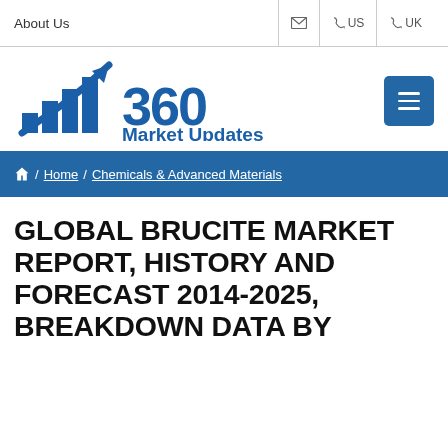About Us  |  ✉  |  ☎ US  |  ☎ UK
[Figure (logo): 360 Market Updates logo with blue bar chart and upward arrow icon followed by bold blue '360 Market Updates' text]
≡ (menu button)
🏠 / Home / Chemicals & Advanced Materials
GLOBAL BRUCITE MARKET REPORT, HISTORY AND FORECAST 2014-2025, BREAKDOWN DATA BY